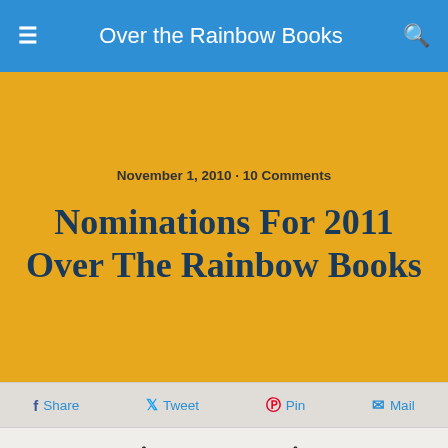Over the Rainbow Books
November 1, 2010 · 10 Comments
Nominations For 2011 Over The Rainbow Books
Share  Tweet  Pin  Mail
As you can see,Â  we've been busy.Â  Here's a compilation Â of October's nominations AND allÂ  the titles that have been nominated by at least one member of our dedicated group of readers.
During the American Library Association's Midwinter